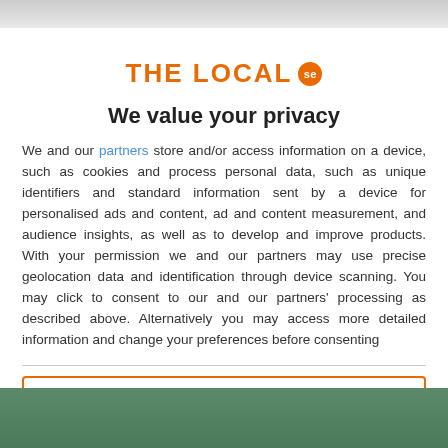[Figure (logo): THE LOCAL se logo — orange bold uppercase text with orange circle badge containing 'se']
We value your privacy
We and our partners store and/or access information on a device, such as cookies and process personal data, such as unique identifiers and standard information sent by a device for personalised ads and content, ad and content measurement, and audience insights, as well as to develop and improve products. With your permission we and our partners may use precise geolocation data and identification through device scanning. You may click to consent to our and our partners' processing as described above. Alternatively you may access more detailed information and change your preferences before consenting
ACCEPT
MORE OPTIONS